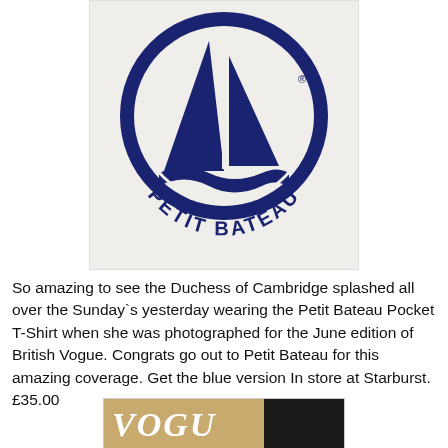[Figure (logo): Petit Bateau logo — dark navy sailboat inside a circle with 'PETIT BATEAU' text curved along the bottom, on a light beige background]
So amazing to see the Duchess of Cambridge splashed all over the Sunday`s yesterday wearing the Petit Bateau Pocket T-Shirt when she was photographed for the June edition of British Vogue. Congrats go out to Petit Bateau for this amazing coverage. Get the blue version In store at Starburst. £35.00
[Figure (photo): Partial view of a Vogue magazine cover showing the VOGUE masthead in italic serif font on the left and a dark image on the right]